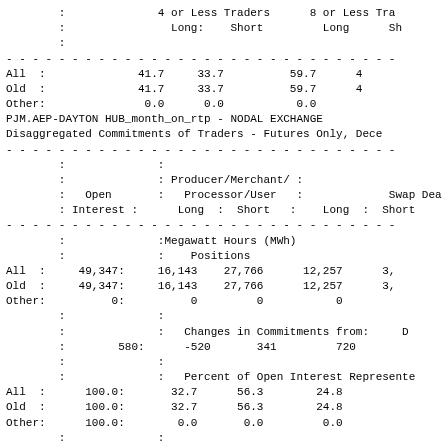|  | 4 or Less Traders Long: | 4 or Less Traders Short | 8 or Less Tra Long | Sh |
| --- | --- | --- | --- | --- |
| All : | 41.7 | 33.7 | 59.7 | 4 |
| Old : | 41.7 | 33.7 | 59.7 | 4 |
| Other: | 0.0 | 0.0 | 0.0 |  |
PJM.AEP-DAYTON HUB_month_on_rtp - NODAL EXCHANGE
Disaggregated Commitments of Traders - Futures Only, Dece
|  | Open Interest : | Producer/Merchant/Processor/User Long : Short : | Long : Short |
| --- | --- | --- | --- |
|  | :Megawatt Hours (MWh) |  |  |
|  | : Positions |  |  |
| All : | 49,347: | 16,143   27,766 | 12,257   3, |
| Old : | 49,347: | 16,143   27,766 | 12,257   3, |
| Other: | 0: | 0       0 | 0 |
|  | : | Changes in Commitments from: | D |
|  | 580: | -520    341 | 720 |
|  | : | Percent of Open Interest Represented |  |
| All : | 100.0: | 32.7   56.3 | 24.8 |
| Old : | 100.0: | 32.7   56.3 | 24.8 |
| Other: | 100.0: | 0.0    0.0 | 0.0 |
|  | : | Number of Traders in Each Category |  |